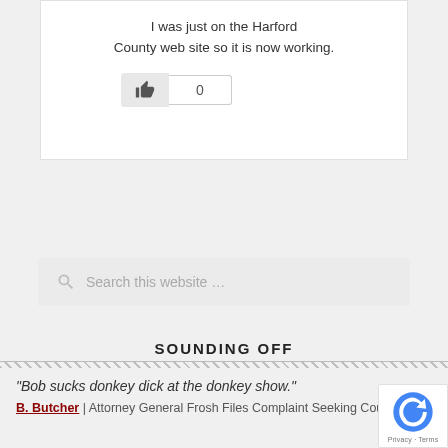I was just on the Harford County web site so it is now working.
[Figure (screenshot): A like button (thumbs up icon on grey background) next to a count of 0 in a bordered box]
[Figure (screenshot): A search bar with placeholder text 'Search this website ...' and a search icon]
SOUNDING OFF
“Bob sucks donkey dick at the donkey show.”
B. Butcher | Attorney General Frosh Files Complaint Seeking Court
[Figure (logo): reCAPTCHA logo badge with Privacy and Terms text]